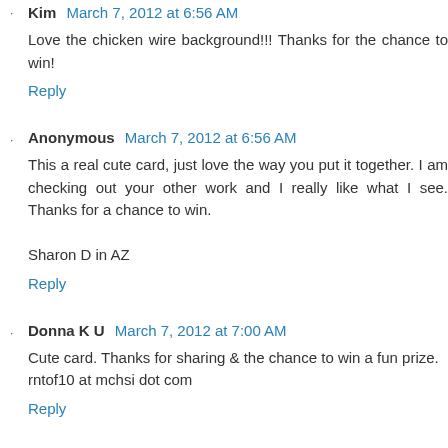Kim March 7, 2012 at 6:56 AM
Love the chicken wire background!!! Thanks for the chance to win!
Reply
Anonymous March 7, 2012 at 6:56 AM
This a real cute card, just love the way you put it together. I am checking out your other work and I really like what I see. Thanks for a chance to win.

Sharon D in AZ
Reply
Donna K U March 7, 2012 at 7:00 AM
Cute card. Thanks for sharing & the chance to win a fun prize.
rntof10 at mchsi dot com
Reply